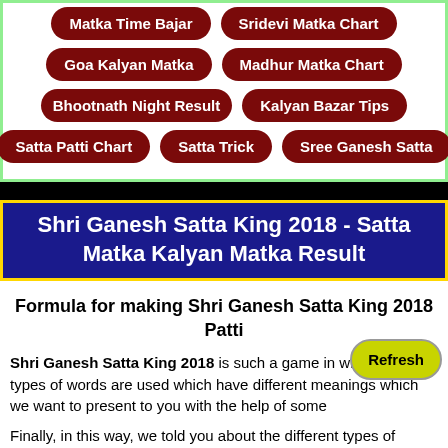Matka Time Bajar
Sridevi Matka Chart
Goa Kalyan Matka
Madhur Matka Chart
Bhootnath Night Result
Kalyan Bazar Tips
Satta Patti Chart
Satta Trick
Sree Ganesh Satta
Shri Ganesh Satta King 2018 - Satta Matka Kalyan Matka Result
Formula for making Shri Ganesh Satta King 2018 Patti
Shri Ganesh Satta King 2018 is such a game in which many types of words are used which have different meanings which we want to present to you with the help of some
Finally, in this way, we told you about the different types of